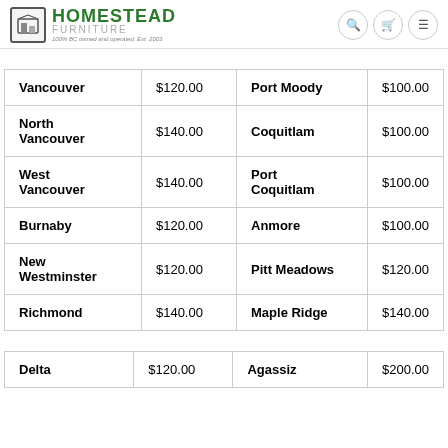HOMESTEAD FURNITURE — 100% BC owned and operated. Est. 2003
| City | Price | City | Price |
| --- | --- | --- | --- |
| Vancouver | $120.00 | Port Moody | $100.00 |
| North Vancouver | $140.00 | Coquitlam | $100.00 |
| West Vancouver | $140.00 | Port Coquitlam | $100.00 |
| Burnaby | $120.00 | Anmore | $100.00 |
| New Westminster | $120.00 | Pitt Meadows | $120.00 |
| Richmond | $140.00 | Maple Ridge | $140.00 |
| City | Price | City | Price |
| --- | --- | --- | --- |
| Delta | $120.00 | Agassiz | $200.00 |